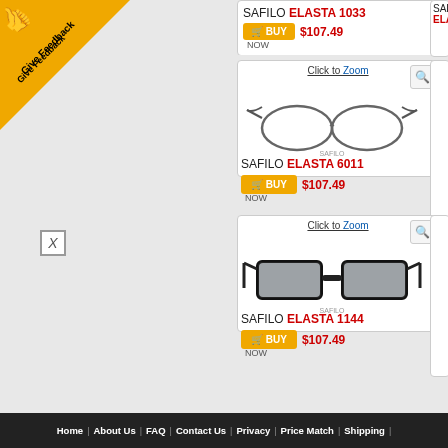[Figure (screenshot): Give Feedback banner in top-left corner with thumbs up icon on gold triangle]
[Figure (screenshot): Close/X box in sidebar]
SAFILO ELASTA 1033 - BUY NOW $107.49
Click to Zoom
SAFILO ELASTA 6011 - BUY NOW $107.49
[Figure (photo): Safilo Elasta 6011 eyeglasses - metal frame, oval lenses, gray/gunmetal color]
Click to Zoom
SAFILO ELASTA 1144 - BUY NOW $107.49
[Figure (photo): Safilo Elasta 1144 eyeglasses - thick black plastic frame, rectangular lenses]
Home | About Us | FAQ | Contact Us | Privacy | Price Match | Shipping |